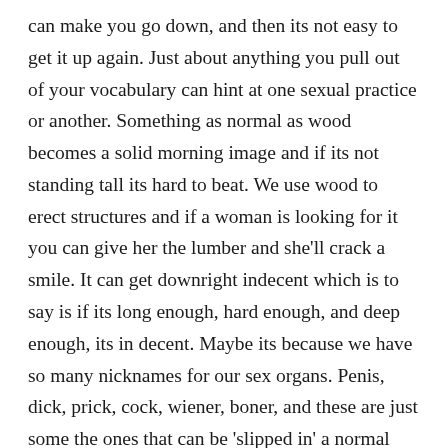can make you go down, and then its not easy to get it up again. Just about anything you pull out of your vocabulary can hint at one sexual practice or another. Something as normal as wood becomes a solid morning image and if its not standing tall its hard to beat. We use wood to erect structures and if a woman is looking for it you can give her the lumber and she’ll crack a smile. It can get downright indecent which is to say is if its long enough, hard enough, and deep enough, its in decent. Maybe its because we have so many nicknames for our sex organs. Penis, dick, prick, cock, wiener, boner, and these are just some the ones that can be ‘slipped in’ a normal conversation. I grabbed the thorn bush and pricked myself. If I fold it over I will be half cocked. I like my wiener on nice soft buns and so do my buddy’s